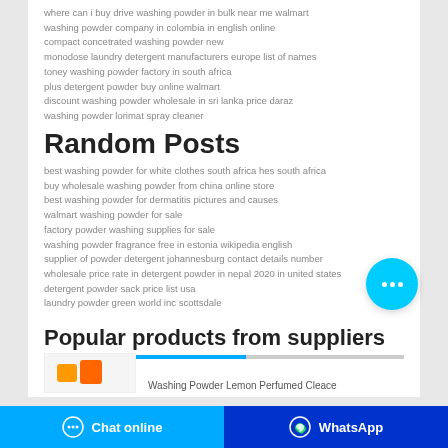where can i buy drive washing powder in bulk near me walmart
washing powder company in colombia in english online
compact concetrated washing powder new
monodose laundry detergent manufacturers europe list of names
toney washing powder factory in south africa
plus detergent powder buy online walmart
discount washing powder wholesale in sri lanka price daraz
washing powder lorimat spray cleaner
Random Posts
best washing powder for white clothes south africa hes south africa
buy wholesale washing powder from china online store
best washing powder for dermatitis pictures and causes
walmart washing powder for sale
factory powder washing supplies for sale
washing powder fragrance free in estonia wikipedia english
supplier of powder detergent johannesburg contact details number
wholesale price rate in detergent powder in nepal 2020 in united states
detergent powder sack price list usa
laundry powder green world inc scottsdale
Popular products from suppliers
Washing Powder Lemon Perfumed Cleace